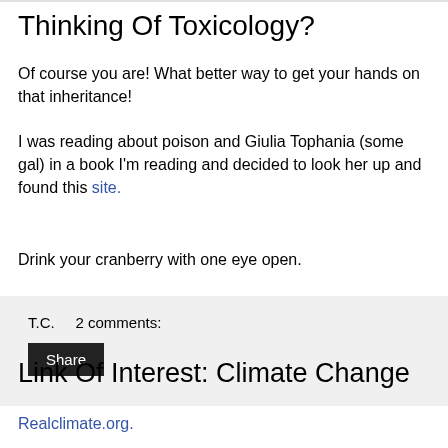Thinking Of Toxicology?
Of course you are! What better way to get your hands on that inheritance!
I was reading about poison and Giulia Tophania (some gal) in a book I'm reading and decided to look her up and found this site.
Drink your cranberry with one eye open.
T.C.      2 comments:
Share
Link Of Interest: Climate Change
Realclimate.org.